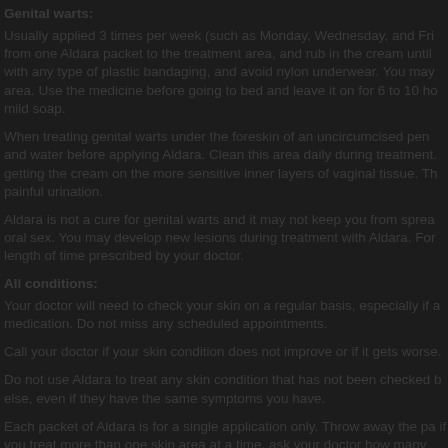Genital warts:
Usually applied 3 times per week (such as Monday, Wednesday, and Friday). Apply cream from one Aldara packet to the treatment area, and rub in the cream until it disappears. Do not cover with any type of plastic bandaging, and avoid nylon underwear. You may cover the area with cotton gauze. Use the medicine before going to bed and leave it on for 6 to 10 hours. Then wash with mild soap.
When treating genital warts under the foreskin of an uncircumcised penis, pull back the foreskin and water before applying Aldara. Clean this area daily during treatment. Women should avoid getting the cream on the more sensitive inner layers of vaginal tissue. This can cause painful urination.
Aldara is not a cure for genital warts and it may not keep you from spreading the disease through oral sex. You may develop new lesions during treatment with Aldara. Follow the treatment length of time prescribed by your doctor.
All conditions:
Your doctor will need to check your skin on a regular basis, especially if you are using this medication. Do not miss any scheduled appointments.
Call your doctor if your skin condition does not improve or if it gets worse.
Do not use Aldara to treat any skin condition that has not been checked by your doctor. Do not share Aldara else, even if they have the same symptoms you have.
Each packet of Aldara is for a single application only. Throw away the packet after one use. If you treat more than one skin area at a time, ask your doctor how many packets to use.
Store Aldara at room temperature away from moisture and heat. Do not freeze.